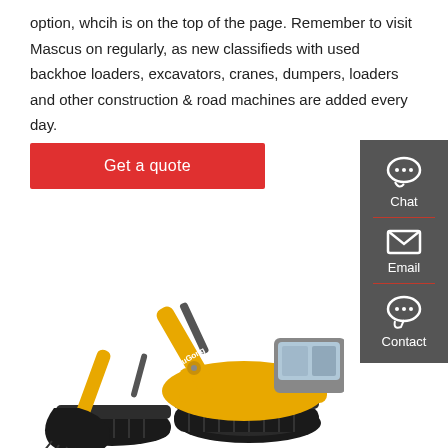option, whcih is on the top of the page. Remember to visit Mascus on regularly, as new classifieds with used backhoe loaders, excavators, cranes, dumpers, loaders and other construction & road machines are added every day.
Get a quote
[Figure (illustration): Sidebar with Chat, Email, and Contact icons on dark grey background]
[Figure (photo): LiuGong yellow tracked excavator on white background]